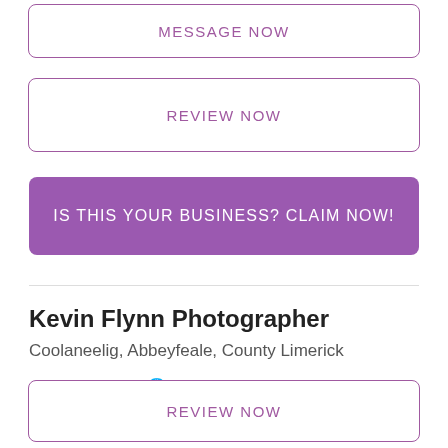MESSAGE NOW
REVIEW NOW
IS THIS YOUR BUSINESS? CLAIM NOW!
Kevin Flynn Photographer
Coolaneelig, Abbeyfeale, County Limerick
068 451...  Website
REVIEW NOW